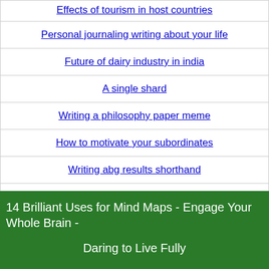Effects of tourism in host countries
Personal journaling writing about your life
Future of dairy industry in india
A single shard
Writing a philosophy paper meme
How to motivate your subordinates
Writing abg results shorthand
Mgt 300
Shark coupon codes march 2015
14 Brilliant Uses for Mind Maps - Engage Your Whole Brain -

Daring to Live Fully